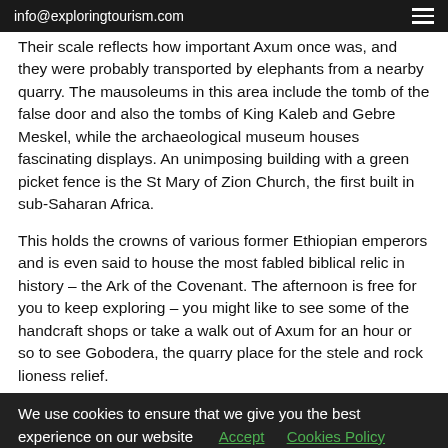info@exploringtourism.com
Their scale reflects how important Axum once was, and they were probably transported by elephants from a nearby quarry. The mausoleums in this area include the tomb of the false door and also the tombs of King Kaleb and Gebre Meskel, while the archaeological museum houses fascinating displays. An unimposing building with a green picket fence is the St Mary of Zion Church, the first built in sub-Saharan Africa.
This holds the crowns of various former Ethiopian emperors and is even said to house the most fabled biblical relic in history – the Ark of the Covenant. The afternoon is free for you to keep exploring – you might like to see some of the handcraft shops or take a walk out of Axum for an hour or so to see Gobodera, the quarry place for the stele and rock lioness relief.
We use cookies to ensure that we give you the best experience on our website  Accept    Cookies Policy
Send Us Your Travel Enquiry